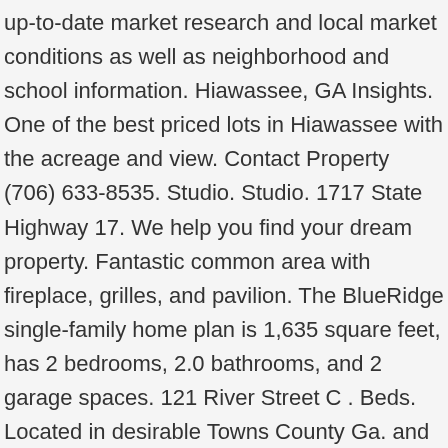up-to-date market research and local market conditions as well as neighborhood and school information. Hiawassee, GA Insights. One of the best priced lots in Hiawassee with the acreage and view. Contact Property (706) 633-8535. Studio. Studio. 1717 State Highway 17. We help you find your dream property. Fantastic common area with fireplace, grilles, and pavilion. The BlueRidge single-family home plan is 1,635 square feet, has 2 bedrooms, 2.0 bathrooms, and 2 garage spaces. 121 River Street C . Beds. Located in desirable Towns County Ga. and the city of Hiawassee, This is a great opportunity for development of this unrestricted Lakefront acreage. We are continuously working to improve the accessibility of our web experience for everyone,  and we welcome feedback and accommodation requests. This custom